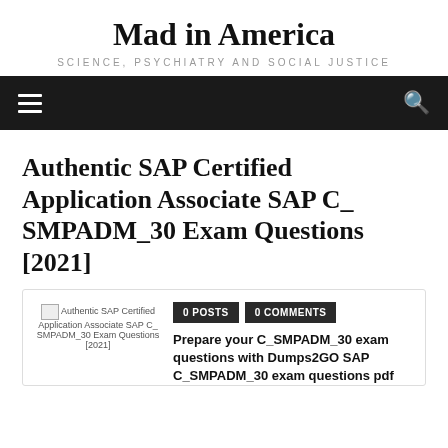Mad in America
SCIENCE, PSYCHIATRY AND SOCIAL JUSTICE
Authentic SAP Certified Application Associate SAP C_ SMPADM_30 Exam Questions [2021]
[Figure (other): Broken image placeholder for Authentic SAP Certified Application Associate SAP C_ SMPADM_30 Exam Questions [2021]]
0 POSTS
0 COMMENTS
Prepare your C_SMPADM_30 exam questions with Dumps2GO SAP C_SMPADM_30 exam questions pdf